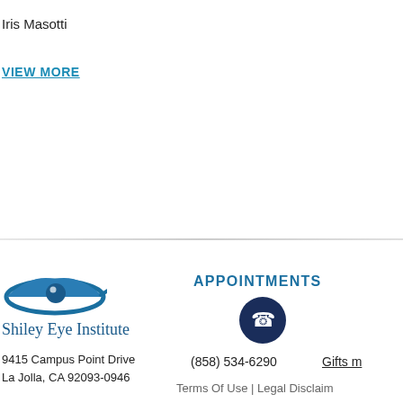Iris Masotti
VIEW MORE
[Figure (logo): Shiley Eye Institute logo with stylized blue eye graphic]
Shiley Eye Institute
9415 Campus Point Drive
La Jolla, CA 92093-0946
APPOINTMENTS
[Figure (illustration): Dark navy blue circle with white telephone/phone handset icon]
(858) 534-6290
Gifts m
Terms Of Use | Legal Disclaim